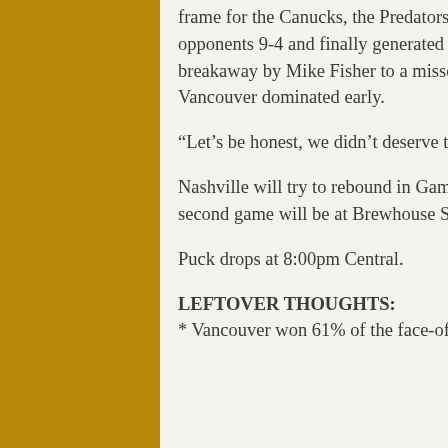frame for the Canucks, the Predators seemed to wake up. In the third period, they outshot their opponents 9-4 and finally generated some scoring chances. Everything from a shorthanded breakaway by Mike Fisher to a missed empty net by Shea Weber but it was all too little too late as Vancouver dominated early.
“Let’s be honest, we didn’t deserve to win this hockey game,” Trotz said.
Nashville will try to rebound in Game 2 which is Saturday night. The 303 Viewing Party for that second game will be at Brewhouse South in Franklin. So make plans to watch the game with us.
Puck drops at 8:00pm Central.
LEFTOVER THOUGHTS:
* Vancouver won 61% of the face-off’s tonight, including 22 of 25 in the first period. Trotz called